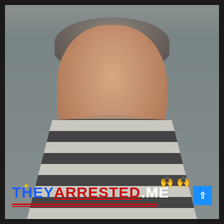[Figure (photo): Mugshot of a middle-aged white male with gray-brown hair and stubble beard, wearing a gray and black striped jail uniform, photographed against a gray cinder block wall background.]
THEYARRESTED.ME